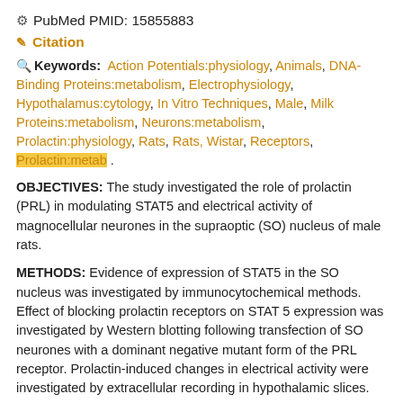PubMed PMID: 15855883
Citation
Keywords: Action Potentials:physiology, Animals, DNA-Binding Proteins:metabolism, Electrophysiology, Hypothalamus:cytology, In Vitro Techniques, Male, Milk Proteins:metabolism, Neurons:metabolism, Prolactin:physiology, Rats, Rats, Wistar, Receptors, Prolactin:metab .
OBJECTIVES: The study investigated the role of prolactin (PRL) in modulating STAT5 and electrical activity of magnocellular neurones in the supraoptic (SO) nucleus of male rats.
METHODS: Evidence of expression of STAT5 in the SO nucleus was investigated by immunocytochemical methods. Effect of blocking prolactin receptors on STAT 5 expression was investigated by Western blotting following transfection of SO neurones with a dominant negative mutant form of the PRL receptor. Prolactin-induced changes in electrical activity were investigated by extracellular recording in hypothalamic slices.